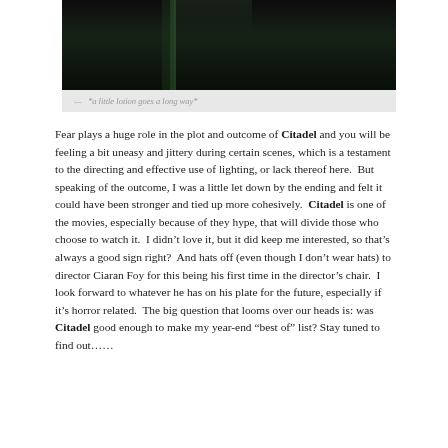[Figure (photo): Dark scene from the movie Citadel, showing a dimly lit image with green/dark tones]
— *a little lotion goes a long way*
Fear plays a huge role in the plot and outcome of Citadel and you will be feeling a bit uneasy and jittery during certain scenes, which is a testament to the directing and effective use of lighting, or lack thereof here.  But speaking of the outcome, I was a little let down by the ending and felt it could have been stronger and tied up more cohesively.  Citadel is one of the movies, especially because of they hype, that will divide those who choose to watch it.  I didn't love it, but it did keep me interested, so that's always a good sign right?  And hats off (even though I don't wear hats) to director Ciaran Foy for this being his first time in the director's chair.  I look forward to whatever he has on his plate for the future, especially if it's horror related.  The big question that looms over our heads is: was Citadel good enough to make my year-end “best of” list? Stay tuned to find out……